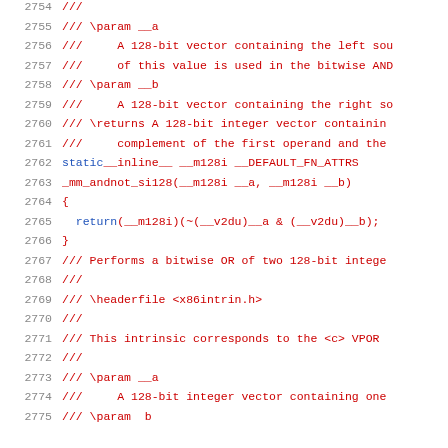2754  ///
2755  /// \param __a
2756  ///     A 128-bit vector containing the left sou
2757  ///     of this value is used in the bitwise AND
2758  /// \param __b
2759  ///     A 128-bit vector containing the right so
2760  /// \returns A 128-bit integer vector containin
2761  ///     complement of the first operand and the
2762  static __inline__ __m128i __DEFAULT_FN_ATTRS
2763  _mm_andnot_si128(__m128i __a, __m128i __b)
2764  {
2765    return (__m128i)(~(__v2du)__a & (__v2du)__b);
2766  }
2767  /// Performs a bitwise OR of two 128-bit intege
2768  ///
2769  /// \headerfile <x86intrin.h>
2770  ///
2771  /// This intrinsic corresponds to the <c> VPOR
2772  ///
2773  /// \param __a
2774  ///     A 128-bit integer vector containing one
2775  /// \param  b